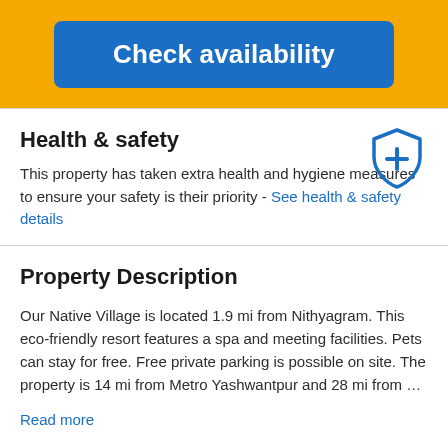[Figure (other): Blue 'Check availability' button on a yellow/amber background banner]
Health & safety
This property has taken extra health and hygiene measures to ensure your safety is their priority - See health & safety details
[Figure (other): Blue shield icon with a plus/cross symbol inside]
Property Description
Our Native Village is located 1.9 mi from Nithyagram. This eco-friendly resort features a spa and meeting facilities. Pets can stay for free. Free private parking is possible on site. The property is 14 mi from Metro Yashwantpur and 28 mi from …
Read more